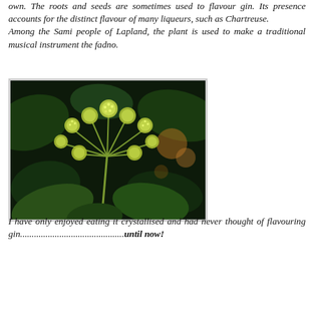own. The roots and seeds are sometimes used to flavour gin. Its presence accounts for the distinct flavour of many liqueurs, such as Chartreuse.
Among the Sami people of Lapland, the plant is used to make a traditional musical instrument the fadno.
[Figure (photo): Close-up photograph of angelica plant flowers — yellow-green spherical flower clusters on stems, with dark green leaves in background]
I have only enjoyed eating it crystallised and had never thought of flavouring gin...........................................until now!